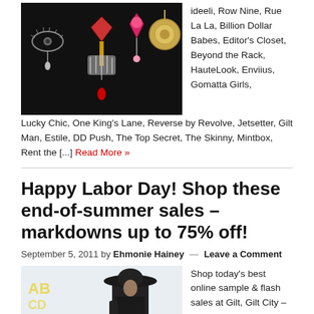[Figure (photo): Jewelry/pendants displayed on black background]
ideeli, Row Nine, Rue La La, Billion Dollar Babes, Editor's Closet, Beyond the Rack, HauteLook, Enviius, Gomatta Girls, Lucky Chic, One King's Lane, Reverse by Revolve, Jetsetter, Gilt Man, Estile, DD Push, The Top Secret, The Skinny, Mintbox, Rent the [...] Read More »
Happy Labor Day! Shop these end-of-summer sales – markdowns up to 75% off!
September 5, 2011 by Ehmonie Hainey — Leave a Comment
[Figure (photo): Woman in black hat and jacket standing outdoors]
Shop today's best online sample & flash sales at Gilt, Gilt City – New York, ideeli, Row Nine, Rue La La, Billion Dollar Babes, Editor's Closet, Beyond